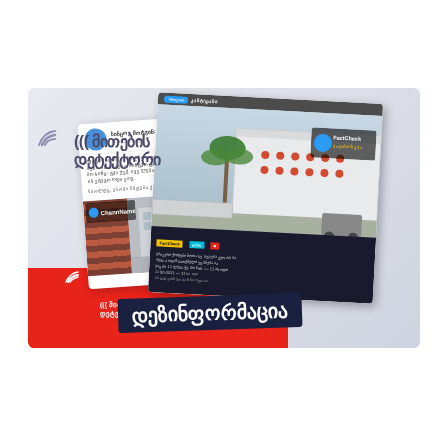[Figure (infographic): A Georgian-language fact-checking infographic with 'Myth Detector' branding. Shows a composite image with a social media post (Telegram channel post with a building photo), overlaid on a light blue-gray banner background with a red triangle/section in the bottom-left. The banner contains: top-left 'myth detector' logo and Georgian text '(მითების დეტექტორი)' (Myth Detector), bottom-left smaller myth detector logo with Georgian text, and a large dark navy label reading 'დეზინფორმაცია' (Disinformation) in white bold text.]